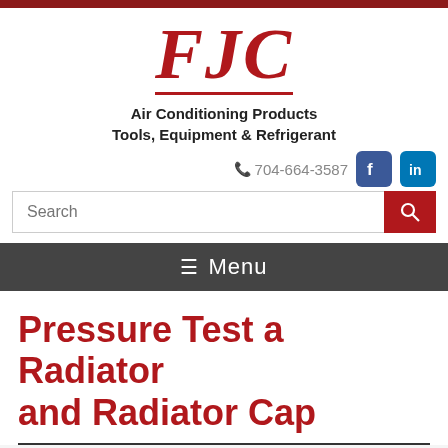[Figure (logo): FJC logo in bold italic red serif font with red underline]
Air Conditioning Products
Tools, Equipment & Refrigerant
704-664-3587
Pressure Test a Radiator and Radiator Cap